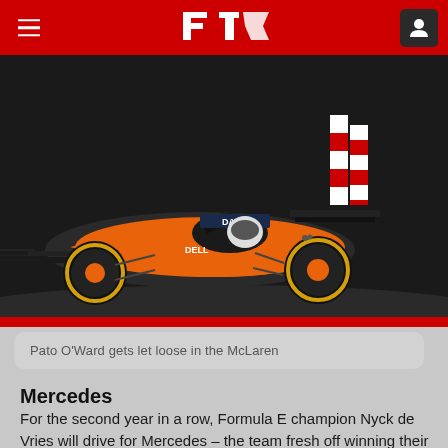F1 (Formula 1 website header with hamburger menu, F1 logo, and user icon)
[Figure (photo): McLaren Formula 1 car in orange and black livery with 'DARK' sponsor visible on the halo, racing on track, dark dramatic background]
Pato O'Ward gets let loose in the McLaren
Mercedes
For the second year in a row, Formula E champion Nyck de Vries will drive for Mercedes – the team fresh off winning their eighth straight constructors' title. The